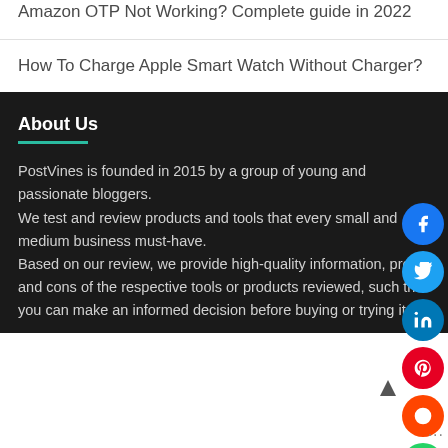Amazon OTP Not Working? Complete guide in 2022
How To Charge Apple Smart Watch Without Charger?
About Us
PostVines is founded in 2015 by a group of young and passionate bloggers.
We test and review products and tools that every small and medium business must-have.
Based on our review, we provide high-quality information, pros, and cons of the respective tools or products reviewed, such that you can make an informed decision before buying or trying it.